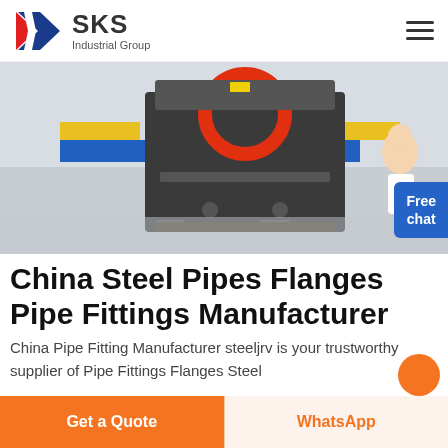SKS Industrial Group
[Figure (photo): Industrial machinery in a factory setting — large dark metal machine with red circular element on top, sitting on a warehouse floor with yellow/blue walls]
China Steel Pipes Flanges Pipe Fittings Manufacturer
China Pipe Fitting Manufacturer steeljrv is your trustworthy supplier of Pipe Fittings Flanges Steel